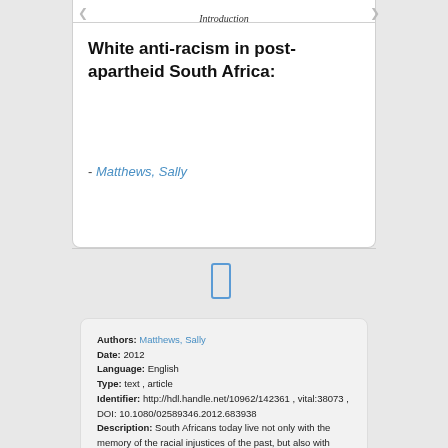Introduction
White anti-racism in post-apartheid South Africa:
- Matthews, Sally
[Figure (other): Pagination icon - a small rectangle outline representing a page/document]
Authors: Matthews, Sally
Date: 2012
Language: English
Type: text , article
Identifier: http://hdl.handle.net/10962/142361 , vital:38073 , DOI: 10.1080/02589346.2012.683938
Description: South Africans today live not only with the memory of the racial injustices of the past, but also with present injustices that are a consequence of that past. How should white South Africans live with these past and present injustices? On recognition of the racial injustices of